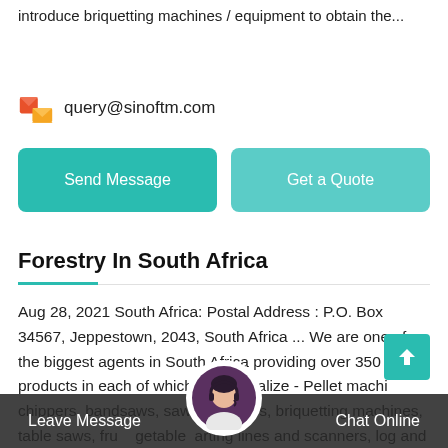introduce briquetting machines / equipment to obtain the...
query@sinoftm.com
Send Message
Get a Quote
Forestry In South Africa
Aug 28, 2021 South Africa: Postal Address : P.O. Box 34567, Jeppestown, 2043, South Africa ... We are one of the biggest agents in South Africa providing over 350 products in each of which we specialize - Pellet machi chippers, bandsaws, sawm ulchers, briquetting machines, table saws, fru getable arting lines and scanners, log and board
Leave Message
Chat Online